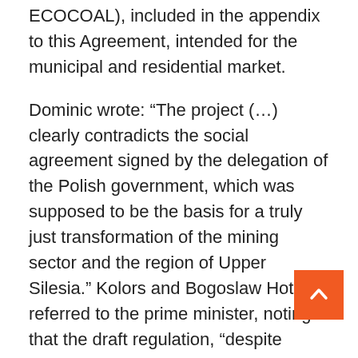ECOCOAL), included in the appendix to this Agreement, intended for the municipal and residential market.
Dominic wrote: “The project (…) clearly contradicts the social agreement signed by the delegation of the Polish government, which was supposed to be the basis for a truly just transformation of the mining sector and the region of Upper Silesia.” Kolors and Bogoslaw Hotek referred to the prime minister, noting that the draft regulation, “despite being of fundamental importance to the work and environment of the mining industry”, had not been consulted with trade unions.
The impact assessment of the draft regulation published by the Ministry of Climate showed that a special team, which worked from October 2020 to 1, 2021, conducted a review of existing regulations on solid fuel quality standards. So is the government